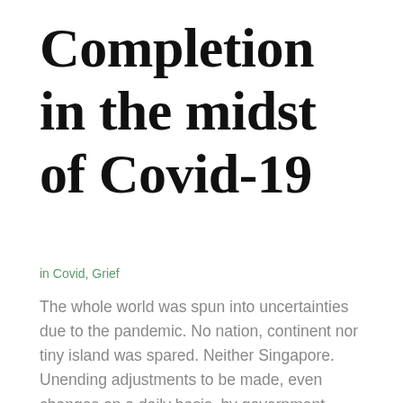Completion in the midst of Covid-19
in Covid, Grief
The whole world was spun into uncertainties due to the pandemic. No nation, continent nor tiny island was spared. Neither Singapore. Unending adjustments to be made, even changes on a daily basis, by government, business and healthcare leaders in view of top